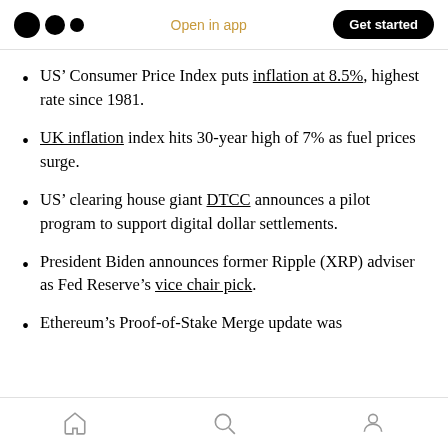Open in app | Get started
US' Consumer Price Index puts inflation at 8.5%, highest rate since 1981.
UK inflation index hits 30-year high of 7% as fuel prices surge.
US' clearing house giant DTCC announces a pilot program to support digital dollar settlements.
President Biden announces former Ripple (XRP) adviser as Fed Reserve's vice chair pick.
Ethereum's Proof-of-Stake Merge update was
Home | Search | Profile